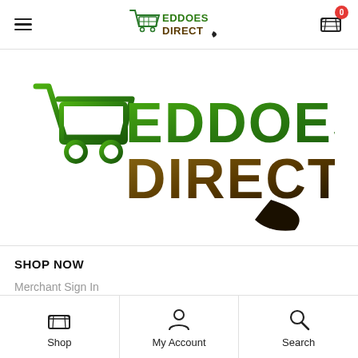[Figure (logo): Eddoes Direct logo in header — shopping cart icon with EDDOES DIRECT text]
[Figure (logo): Large Eddoes Direct logo banner — green shopping cart with EDDOES in green gradient and DIRECT in dark brown/gold gradient with speech bubble arrow]
SHOP NOW
Merchant Sign In
Shop
My Account
Search